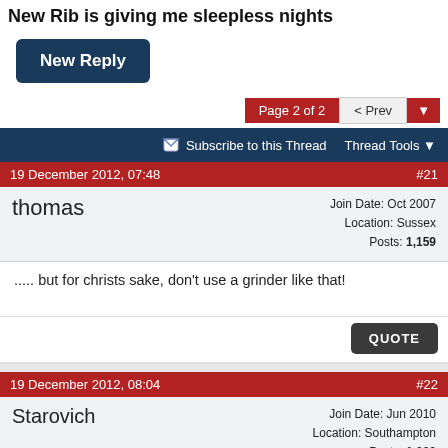New Rib is giving me sleepless nights
New Reply
Page 2 of 2  < Prev
Subscribe to this Thread   Thread Tools
19 December 2012, 07:48  #21
thomas
Join Date: Oct 2007
Location: Sussex
Posts: 1,159
..... but for christs sake, don't use a grinder like that!
QUOTE
19 December 2012, 08:04  #22
Starovich
Join Date: Jun 2010
Location: Southampton
Posts: 1,003
OFC Loco, if I took the video in that boat, my fat ass would change the trim so much it would give a false reading